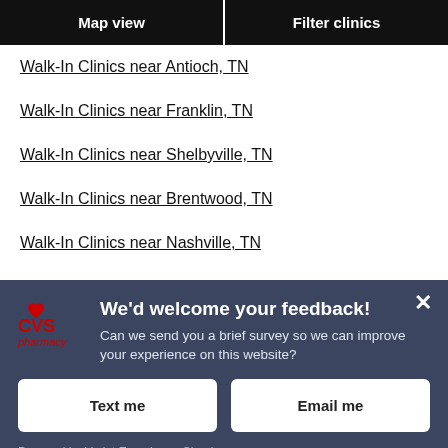Map view | Filter clinics
Walk-In Clinics near Antioch, TN
Walk-In Clinics near Franklin, TN
Walk-In Clinics near Shelbyville, TN
Walk-In Clinics near Brentwood, TN
Walk-In Clinics near Nashville, TN
Walk-In Clinics near Mount Juliet, TN
[Figure (screenshot): CVS Pharmacy feedback modal with logo, title 'We'd welcome your feedback!', body text, Text me and Email me buttons, and Verint footer link]
We'd welcome your feedback! Can we send you a brief survey so we can improve your experience on this website?
Text me
Email me
Powered by Verint Experience Cloud